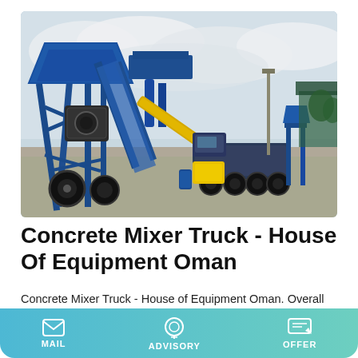[Figure (photo): Industrial concrete batching plant on a paved yard. Features a large blue steel frame structure with aggregate bins, conveyor belt, cement mixer components, a yellow generator, a blue dump truck, and a separate blue support structure with an auger/screw conveyor on the right. Overcast sky background with trees visible on the right side.]
Concrete Mixer Truck - House Of Equipment Oman
Concrete Mixer Truck - House of Equipment Oman. Overall dimension. 9000x2500x3820mm. Kerb weight. 13800kg.
MAIL   ADVISORY   OFFER